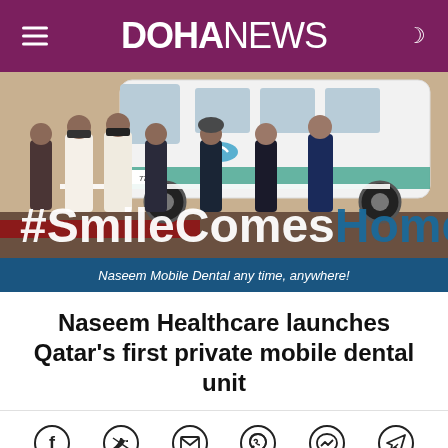DOHA NEWS
[Figure (photo): Group of men in formal and traditional attire cutting a ribbon in front of a white mobile dental van. A large banner reads '#SmileComesHome' and below it 'Naseem Mobile Dental any time, anywhere!']
Naseem Healthcare launches Qatar's first private mobile dental unit
[Figure (infographic): Social media sharing icons: Facebook, Twitter, Email, WhatsApp, Messenger, Telegram]